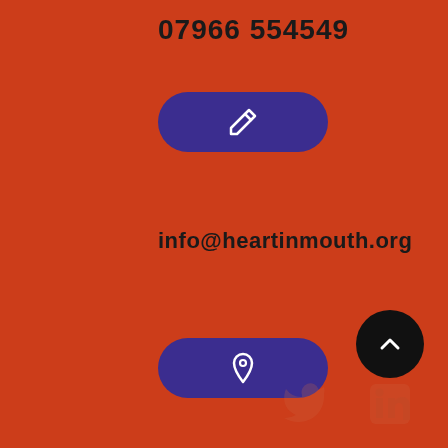07966 554549
[Figure (illustration): Purple pill-shaped button with white pencil/edit icon]
info@heartinmouth.org
[Figure (illustration): Purple pill-shaped button with white location pin icon]
Dean Park House 2 Mansfield Road Balerno EH14 7LA
[Figure (illustration): Black circular back-to-top button with upward chevron arrow]
[Figure (illustration): Faded Twitter and LinkedIn social media icons]